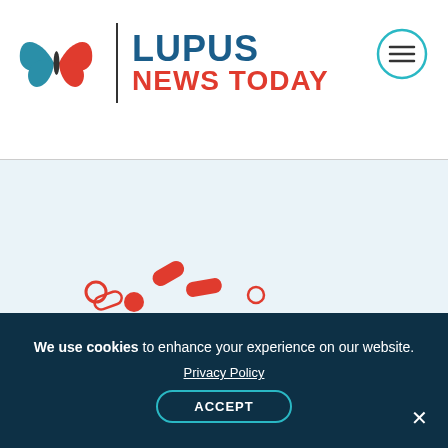Lupus News Today
Recommended reading
[Figure (illustration): Clinical Trials illustration with pills/capsules scattered above a horizontal line, bold text 'CLINICAL TRIALS', another horizontal line below, and a red EKG/heartbeat line]
We use cookies to enhance your experience on our website.
Privacy Policy
ACCEPT